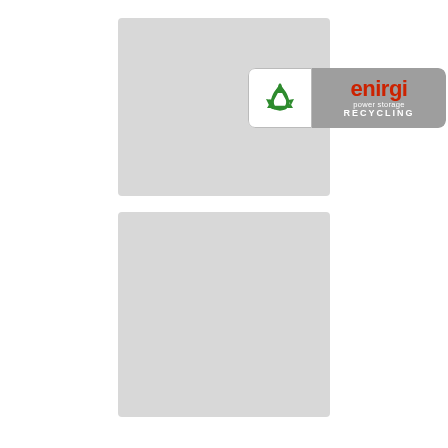[Figure (logo): Enirgi Power Storage Recycling logo: white left panel with green recycling symbol, grey right panel with red 'enirgi' text, 'power storage' subtitle, and 'RECYCLING' in white caps]
[Figure (logo): Envirostream logo: white rectangle with green and pink play-button arrow icon followed by 'envirostream' text in dark grey]